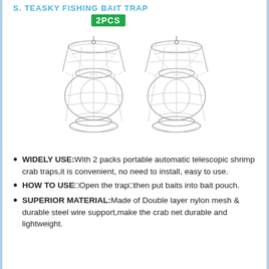STEASKY FISHING BAIT TRAP
[Figure (photo): Two cylindrical mesh fishing bait traps shown side by side, with a green '2PCS' badge above them]
WIDELY USE:With 2 packs portable automatic telescopic shrimp crab traps,it is convenient, no need to install, easy to use.
HOW TO USE□Open the trap□then put baits into bait pouch.
SUPERIOR MATERIAL:Made of Double layer nylon mesh & durable steel wire support,make the crab net durable and lightweight.